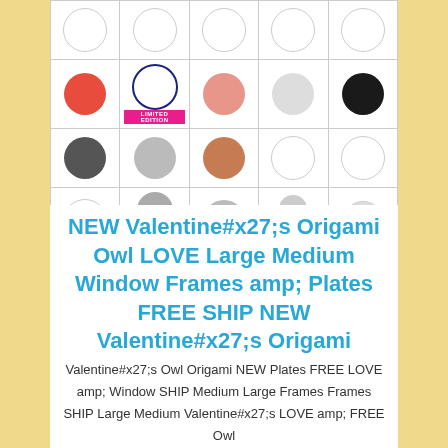[Figure (photo): Grid of decorative circular plates/coins showing various designs including dots, stripes, hearts, soccer ball, and other patterns arranged in 4 rows of 5]
NEW Valentine#x27;s Origami Owl LOVE Large Medium Window Frames amp; Plates FREE SHIP NEW Valentine#x27;s Origami
Valentine#x27;s Owl Origami NEW Plates FREE LOVE amp; Window SHIP Medium Large Frames Frames SHIP Large Medium Valentine#x27;s LOVE amp; FREE Owl